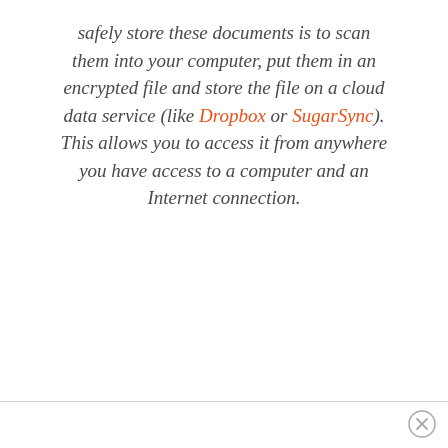safely store these documents is to scan them into your computer, put them in an encrypted file and store the file on a cloud data service (like Dropbox or SugarSync). This allows you to access it from anywhere you have access to a computer and an Internet connection.